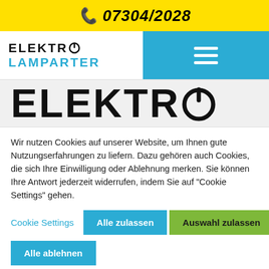📞 07304/2028
[Figure (logo): ELEKTRO LAMPARTER logo with power button icon in black and blue]
[Figure (logo): Large ELEKTRO text with power button icon as hero header]
Wir nutzen Cookies auf unserer Website, um Ihnen gute Nutzungserfahrungen zu liefern. Dazu gehören auch Cookies, die sich Ihre Einwilligung oder Ablehnung merken. Sie können Ihre Antwort jederzeit widerrufen, indem Sie auf "Cookie Settings" gehen.
Cookie Settings
Alle zulassen
Auswahl zulassen
Alle ablehnen
Cookie Settings